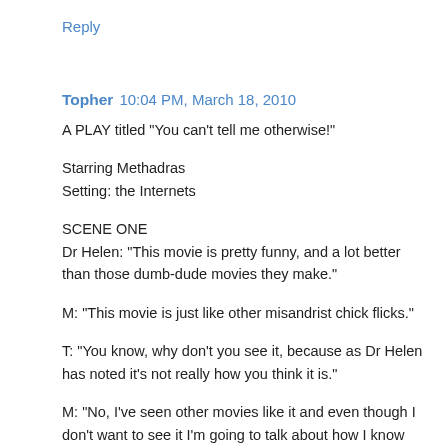Reply
Topher  10:04 PM, March 18, 2010
A PLAY titled "You can't tell me otherwise!"
Starring Methadras
Setting: the Internets
SCENE ONE
Dr Helen: "This movie is pretty funny, and a lot better than those dumb-dude movies they make."
M: "This movie is just like other misandrist chick flicks."
T: "You know, why don't you see it, because as Dr Helen has noted it's not really how you think it is."
M: "No, I've seen other movies like it and even though I don't want to see it I'm going to talk about how I know what's in it, even though I didn't see it, and O won't